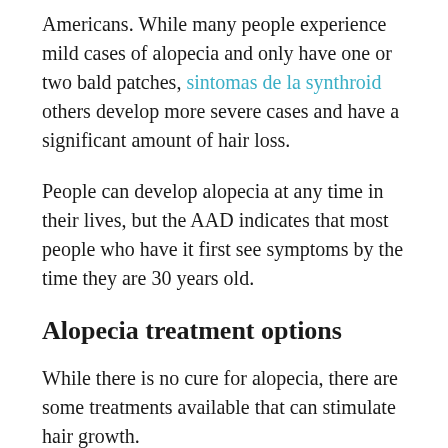Americans. While many people experience mild cases of alopecia and only have one or two bald patches, sintomas de la synthroid others develop more severe cases and have a significant amount of hair loss.
People can develop alopecia at any time in their lives, but the AAD indicates that most people who have it first see symptoms by the time they are 30 years old.
Alopecia treatment options
While there is no cure for alopecia, there are some treatments available that can stimulate hair growth.
Corticosteroids can either be injected into the affected area or applied as a topical treatment. Doctors often also treat them that add to...